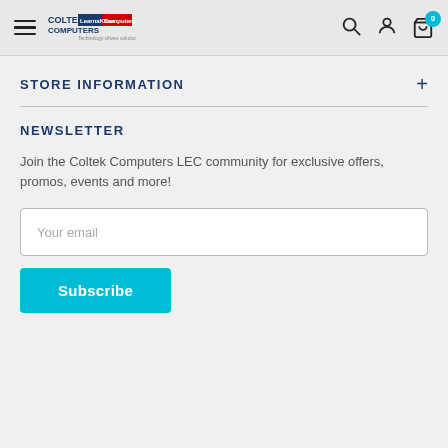[Figure (screenshot): Website navigation bar with hamburger menu icon, Coltek Computers LEC logo, and icons for search, user account, and shopping cart with badge showing 0]
STORE INFORMATION
NEWSLETTER
Join the Coltek Computers LEC community for exclusive offers, promos, events and more!
Your email
Subscribe